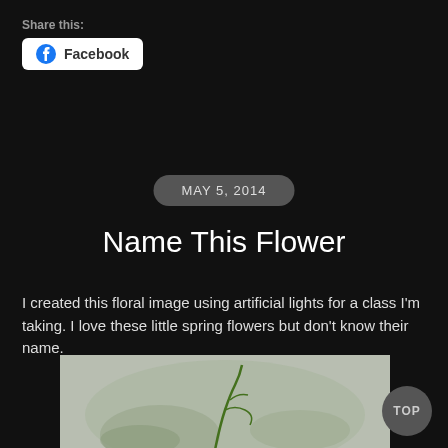Share this:
Facebook
MAY 5, 2014
Name This Flower
I created this floral image using artificial lights for a class I'm taking. I love these little spring flowers but don't know their name.
[Figure (photo): Close-up photo of a small spring flower against a light textured background, partially visible at the bottom of the page]
TOP